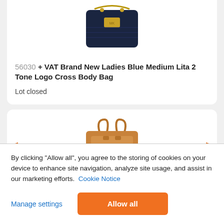[Figure (photo): Navy blue handbag with gold chain strap and logo hardware]
56030 + VAT Brand New Ladies Blue Medium Lita 2 Tone Logo Cross Body Bag
Lot closed
[Figure (photo): Tan/brown leather tote handbag with double handles]
By clicking “Allow all”, you agree to the storing of cookies on your device to enhance site navigation, analyze site usage, and assist in our marketing efforts. Cookie Notice
Manage settings
Allow all